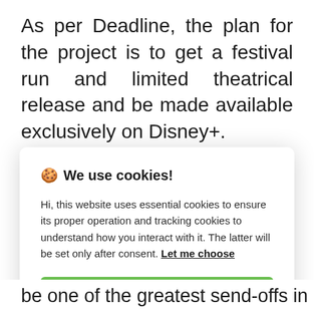As per Deadline, the plan for the project is to get a festival run and limited theatrical release and be made available exclusively on Disney+.
[Figure (screenshot): Cookie consent dialog overlay with title '🍪 We use cookies!', body text about essential and tracking cookies, a 'Let me choose' link, an 'Accept all' green button, and a 'Reject all' grey button.]
be one of the greatest send-offs in rock-